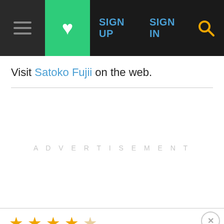SIGN UP  SIGN IN
Visit Satoko Fujii on the web.
[Figure (other): Advertisement placeholder area with light gray 'ADVERTISEMENT' text centered]
★★★★☆
Top critic ion